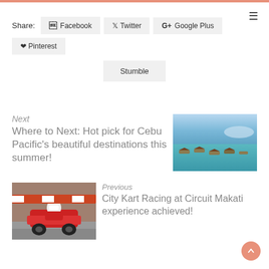Share: Facebook  Twitter  Google Plus  Pinterest
Stumble
Next
Where to Next: Hot pick for Cebu Pacific's beautiful destinations this summer!
[Figure (photo): Aerial view of boats and huts on shallow turquoise water with blue sky]
[Figure (photo): Person in red jacket driving a go-kart on a racing circuit]
Previous
City Kart Racing at Circuit Makati experience achieved!